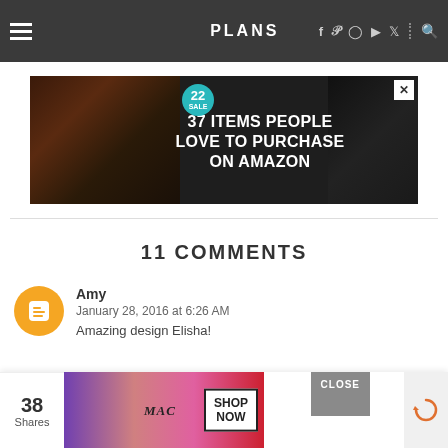PLANS — navigation bar with hamburger menu, social icons (f, P, Instagram, YouTube, Twitter) and search
[Figure (photo): Advertisement banner: dark background with kitchen knives and food items. Badge reading '22'. Text: '37 ITEMS PEOPLE LOVE TO PURCHASE ON AMAZON'. Close X button top right.]
11 COMMENTS
Amy
January 28, 2016 at 6:26 AM
Amazing design Elisha!
[Figure (photo): Bottom advertisement for MAC cosmetics showing lipsticks (purple, peach, pink, red) with MAC logo and SHOP NOW button. CLOSE button overlay. 38 Shares counter on left. Refresh icon on right.]